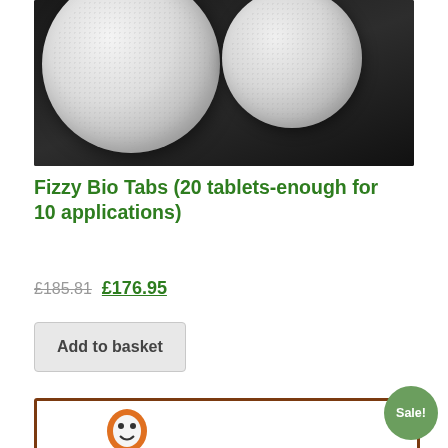[Figure (photo): Two white/grey fizzy tablet pills on a dark background]
Fizzy Bio Tabs (20 tablets-enough for 10 applications)
£185.81 £176.95
Add to basket
[Figure (illustration): Product card with brown border and cartoon figure, Sale! badge]